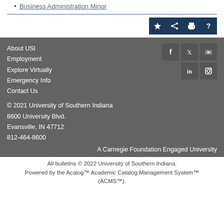Business Administration Minor
[Figure (other): Four icon buttons: star (favorite), share, print, help (question mark)]
About USI
Employment
Explore Virtually
Emergency Info
Contact Us
[Figure (other): Social media icons: Facebook, Twitter, YouTube, LinkedIn, Instagram]
© 2021 University of Southern Indiana
8600 University Blvd.
Evansville, IN 47712
812-464-8600
A Carnegie Foundation Engaged University
All bulletins © 2022 University of Southern Indiana. Powered by the Acalog™ Academic Catalog Management System™ (ACMS™).